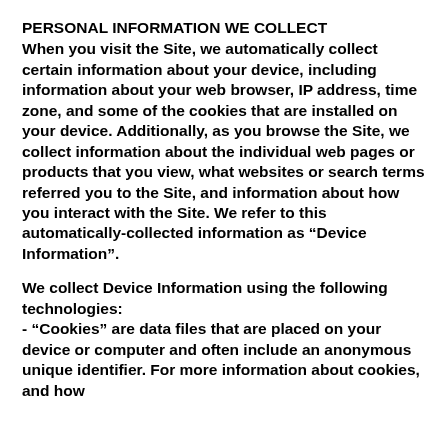PERSONAL INFORMATION WE COLLECT
When you visit the Site, we automatically collect certain information about your device, including information about your web browser, IP address, time zone, and some of the cookies that are installed on your device. Additionally, as you browse the Site, we collect information about the individual web pages or products that you view, what websites or search terms referred you to the Site, and information about how you interact with the Site. We refer to this automatically-collected information as “Device Information”.
We collect Device Information using the following technologies:
- “Cookies” are data files that are placed on your device or computer and often include an anonymous unique identifier. For more information about cookies, and how